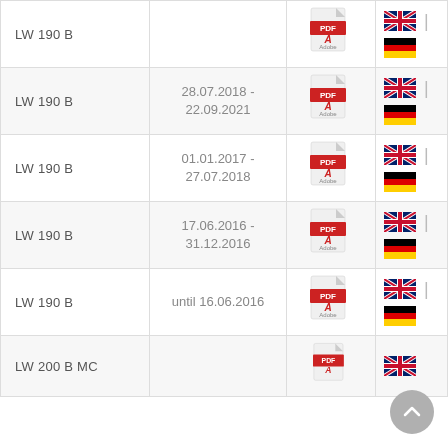| Model | Date Range | PDF | Language |
| --- | --- | --- | --- |
| LW 190 B |  | PDF | EN | DE |
| LW 190 B | 28.07.2018 - 22.09.2021 | PDF | EN | DE |
| LW 190 B | 01.01.2017 - 27.07.2018 | PDF | EN | DE |
| LW 190 B | 17.06.2016 - 31.12.2016 | PDF | EN | DE |
| LW 190 B | until 16.06.2016 | PDF | EN | DE |
| LW 200 B MC |  | PDF | EN |